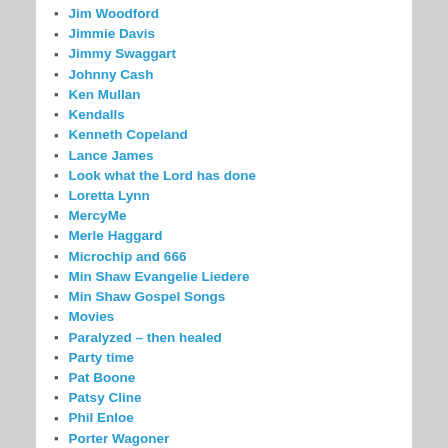Jim Woodford
Jimmie Davis
Jimmy Swaggart
Johnny Cash
Ken Mullan
Kendalls
Kenneth Copeland
Lance James
Look what the Lord has done
Loretta Lynn
MercyMe
Merle Haggard
Microchip and 666
Min Shaw Evangelie Liedere
Min Shaw Gospel Songs
Movies
Paralyzed – then healed
Party time
Pat Boone
Patsy Cline
Phil Enloe
Porter Wagoner